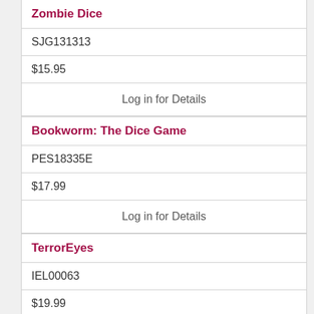Zombie Dice
SJG131313
$15.95
Log in for Details
Bookworm: The Dice Game
PES18335E
$17.99
Log in for Details
TerrorEyes
IEL00063
$19.99
Log in for Details